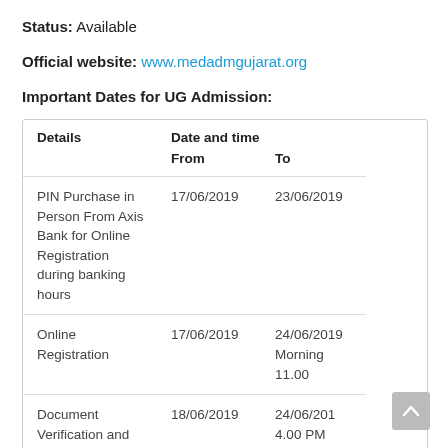Status: Available
Official website: www.medadmgujarat.org
Important Dates for UG Admission:
| Details | Date and time |  |
| --- | --- | --- |
| PIN Purchase in Person From Axis Bank for Online Registration during banking hours | 17/06/2019 | 23/06/2019 |
| Online Registration | 17/06/2019 | 24/06/2019 Morning 11.00 |
| Document Verification and Deposition at Help | 18/06/2019 | 24/06/201 4.00 PM |